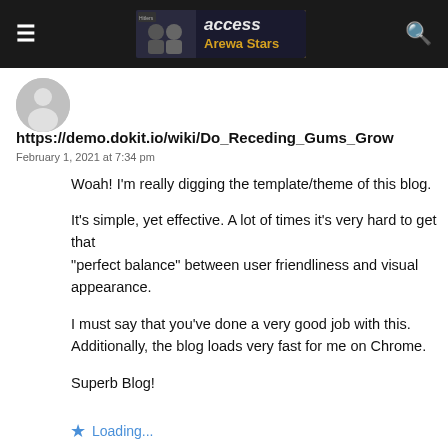access Arewa Stars
[Figure (screenshot): Default user avatar - grey silhouette person icon]
https://demo.dokit.io/wiki/Do_Receding_Gums_Grow
February 1, 2021 at 7:34 pm
Woah! I'm really digging the template/theme of this blog.

It's simple, yet effective. A lot of times it's very hard to get that "perfect balance" between user friendliness and visual appearance.

I must say that you've done a very good job with this. Additionally, the blog loads very fast for me on Chrome.

Superb Blog!
Loading...